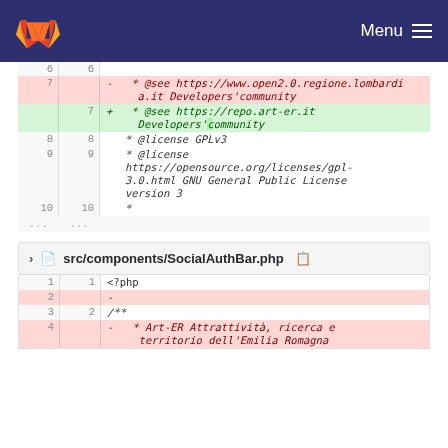GitLab — Menu
[Figure (screenshot): GitLab code diff view showing lines 7-10 and ellipsis of a PHP file, with line 7 deleted (showing @see https://www.open2.0.regione.lombardia.it Developers'community) and line 7 added (showing @see https://repo.art-er.it Developers' community), followed by @license lines 8-10.]
src/components/SocialAuthBar.php
[Figure (screenshot): GitLab code diff view showing lines 1-4 of SocialAuthBar.php: line 1 is <?php, line 2 is deleted (dash only), line 3/2 is /**, line 4 is deleted showing * Art-ER Attrattività, ricerca e territorio dell'Emilia Romagna]